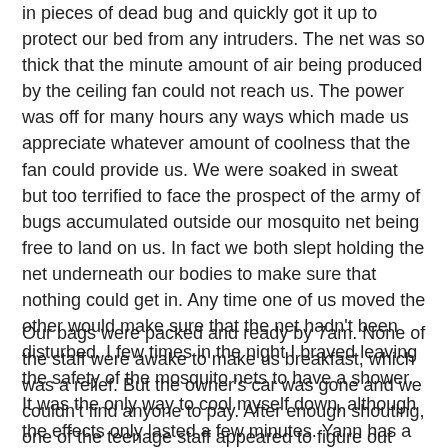in pieces of dead bug and quickly got it up to protect our bed from any intruders. The net was so thick that the minute amount of air being produced by the ceiling fan could not reach us. The power was off for many hours any ways which made us appreciate whatever amount of coolness that the fan could provide us. We were soaked in sweat but too terrified to face the prospect of the army of bugs accumulated outside our mosquito net being free to land on us. In fact we both slept holding the net underneath our bodies to make sure that nothing could get in. Any time one of us moved the other would make sure that the net hadn't been disturbed. I few times in the night I braved leaving the safety of the mosquito nets to have a shower. It was the only way to cool myself down, although the effects only lasted a few minutes. Yann has a better tolerance for heat, and is also a lot more afraid of bugs, so he just sweated it out.
Our bags were packed and ready by 7am. None of the staff were awake to make us breakfast, which was a relief. But the owner's car was gone and we couldn't find anyone to pay. After enough shouting, one of the teenage staff appeared to figure out what was going on. Once our